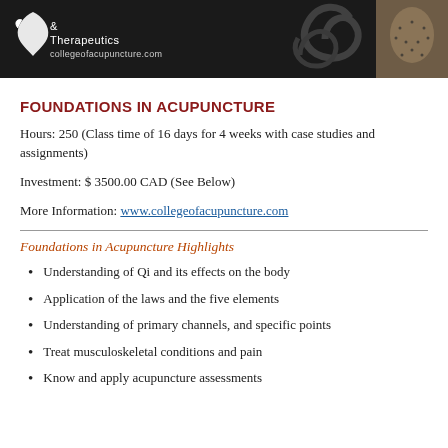[Figure (logo): Dark banner with white bird/dove logo, text '& Therapeutics collegeofacupuncture.com', decorative swirl and face with acupuncture points on right side]
FOUNDATIONS IN ACUPUNCTURE
Hours: 250 (Class time of 16 days for 4 weeks with case studies and assignments)
Investment: $ 3500.00 CAD (See Below)
More Information: www.collegeofacupuncture.com
Foundations in Acupuncture Highlights
Understanding of Qi and its effects on the body
Application of the laws and the five elements
Understanding of primary channels, and specific points
Treat musculoskeletal conditions and pain
Know and apply acupuncture assessments